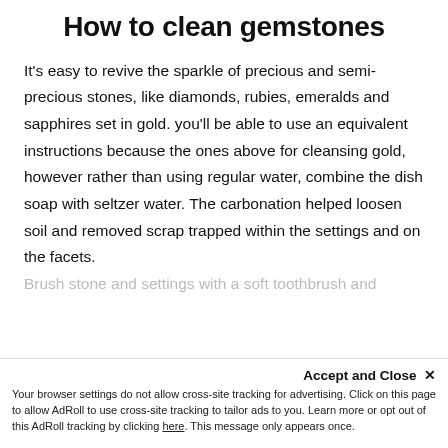How to clean gemstones
It’s easy to revive the sparkle of precious and semi-precious stones, like diamonds, rubies, emeralds and sapphires set in gold. you’ll be able to use an equivalent instructions because the ones above for cleansing gold, however rather than using regular water, combine the dish soap with seltzer water. The carbonation helped loosen soil and removed scrap trapped within the settings and on the facets.
Brush stone and settings with a soft toothbrush and
Accept and Close ×
Your browser settings do not allow cross-site tracking for advertising. Click on this page to allow AdRoll to use cross-site tracking to tailor ads to you. Learn more or opt out of this AdRoll tracking by clicking here. This message only appears once.